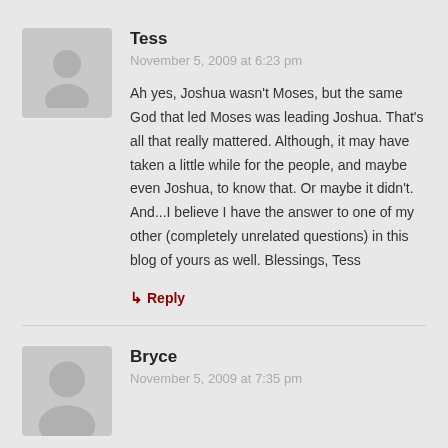Tess
November 5, 2009 at 6:23 pm
Ah yes, Joshua wasn't Moses, but the same God that led Moses was leading Joshua. That's all that really mattered. Although, it may have taken a little while for the people, and maybe even Joshua, to know that. Or maybe it didn't. And...I believe I have the answer to one of my other (completely unrelated questions) in this blog of yours as well. Blessings, Tess
↳ Reply
Bryce
November 5, 2009 at 7:35 pm